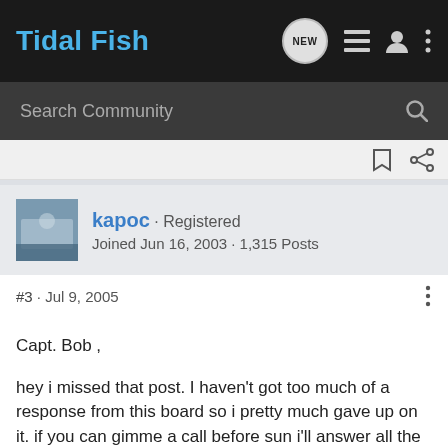Tidal Fish
Search Community
kapoc · Registered
Joined Jun 16, 2003 · 1,315 Posts
#3 · Jul 9, 2005
Capt. Bob ,

hey i missed that post. I haven't got too much of a response from this board so i pretty much gave up on it. if you can gimme a call before sun i'll answer all the questions that i can my # is 850-994-0019

Capt. Mike